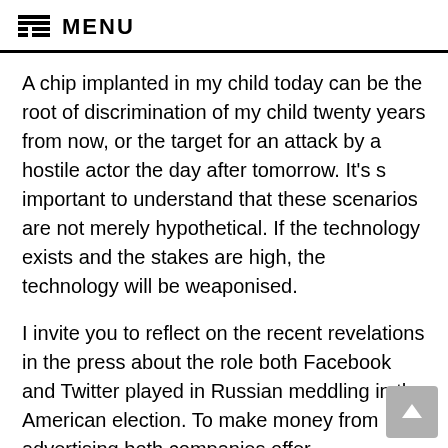MENU
A chip implanted in my child today can be the root of discrimination of my child twenty years from now, or the target for an attack by a hostile actor the day after tomorrow. It’s s important to understand that these scenarios are not merely hypothetical. If the technology exists and the stakes are high, the technology will be weaponised.
I invite you to reflect on the recent revelations in the press about the role both Facebook and Twitter played in Russian meddling in the American election. To make money from advertising both companies offer sophisticated tools for targeting slices of their market. These tools enable such detailed targeting that advertisements can even be aimed at a single individual. It is reported that 100,000 dollars a month f